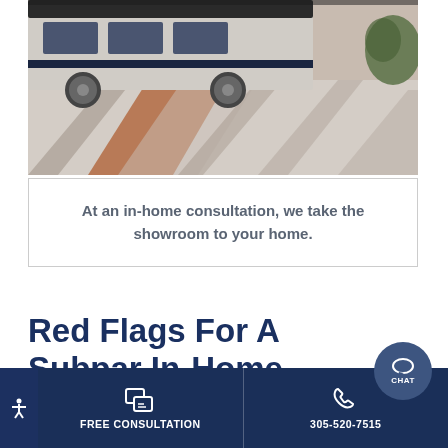[Figure (photo): Photo of a white van parked on a decorative brick and concrete driveway, casting shadows in sunlight, with a green shrub in the upper right]
At an in-home consultation, we take the showroom to your home.
Red Flags For A Subpar In-Home Shutter Consultation
FREE CONSULTATION  305-520-7515  CHAT